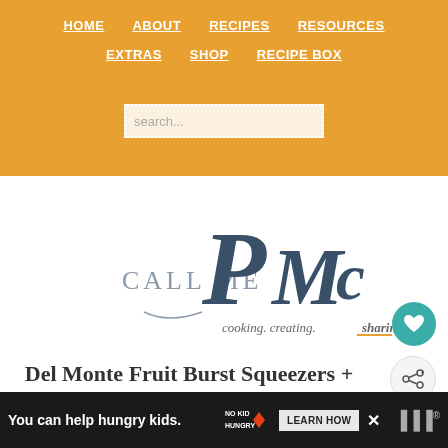HOME  ABOUT  RECIPES  RESOURCES  EXTRAS  SHOP  RECIPE BOX
[Figure (screenshot): Search input box with placeholder text 'search...' on orange background]
[Figure (logo): Call Me PMc logo — cursive script with 'CALL ME PMc' and tagline 'cooking. creating. sharing.']
Del Monte Fruit Burst Squeezers + WalMart Offer
posted by PAULA  11 comments
[Figure (infographic): Ad banner: 'You can help hungry kids.' No Kid Hungry logo and LEARN HOW button]